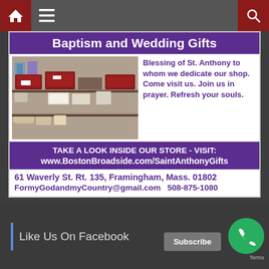Navigation bar with home, menu, and search icons
[Figure (photo): Photo of a shop interior showing religious gifts, boxes, and items on shelves]
Baptism and Wedding Gifts
Blessing of St. Anthony to whom we dedicate our shop. Come visit us. Join us in prayer. Refresh your souls.
TAKE A LOOK INSIDE OUR STORE - VISIT: www.BostonBroadside.com/SaintAnthonyGifts
61 Waverly St. Rt. 135, Framingham, Mass. 01802 FormyGodandmyCountry@gmail.com   508-875-1080
Like Us On Facebook
Subscribe
Terms